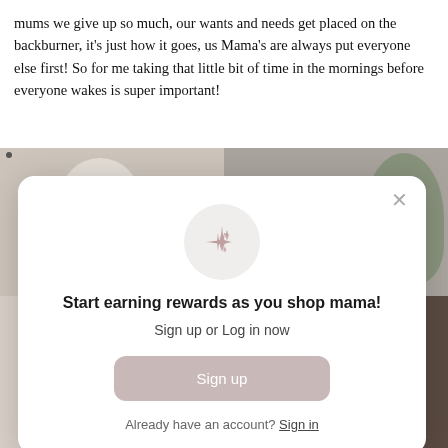mums we give up so much, our wants and needs get placed on the backburner, it's just how it goes, us Mama's are always put everyone else first! So for me taking that little bit of time in the mornings before everyone wakes is super important!
[Figure (photo): Two-panel photo strip showing lifestyle/home imagery: left panel shows a white bag/purse hanging and a beaded necklace; right panel shows a green plant and a person's head partially visible.]
[Figure (screenshot): Modal popup overlay on webpage with sparkle icon, title 'Start earning rewards as you shop mama!', subtitle 'Sign up or Log in now', a 'Sign up' button, and 'Already have an account? Sign in' link. Close X button in top right.]